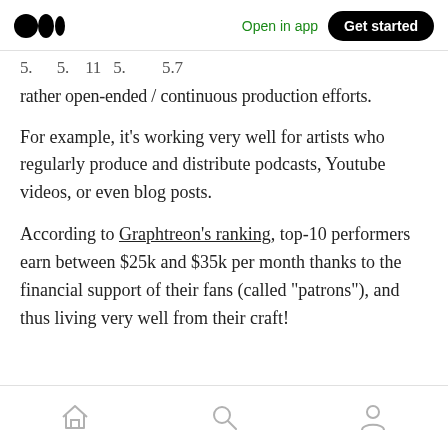Open in app | Get started
5. 5. 11 5. 5.7 rather open-ended / continuous production efforts.
For example, it's working very well for artists who regularly produce and distribute podcasts, Youtube videos, or even blog posts.
According to Graphtreon's ranking, top-10 performers earn between $25k and $35k per month thanks to the financial support of their fans (called “patrons”), and thus living very well from their craft!
Home | Search | Profile